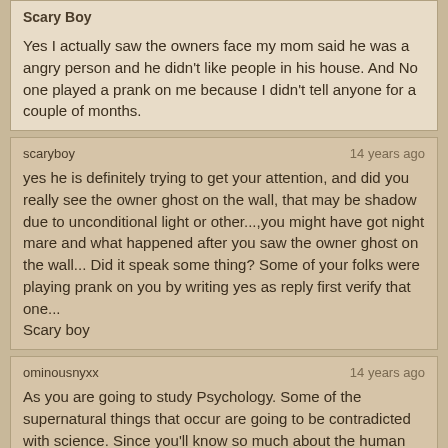Scary Boy

Yes I actually saw the owners face my mom said he was a angry person and he didn't like people in his house. And No one played a prank on me because I didn't tell anyone for a couple of months.
scaryboy | 14 years ago

yes he is definitely trying to get your attention, and did you really see the owner ghost on the wall, that may be shadow due to unconditional light or other...,you might have got night mare and what happened after you saw the owner ghost on the wall... Did it speak some thing? Some of your folks were playing prank on you by writing yes as reply first verify that one... Scary boy
ominousnyxx | 14 years ago

As you are going to study Psychology. Some of the supernatural things that occur are going to be contradicted with science. Since you'll know so much about the human mind and what they are capable of.